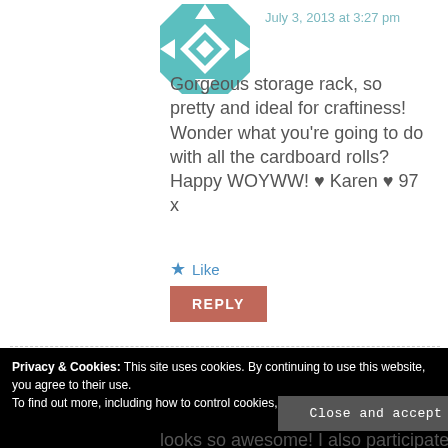[Figure (illustration): Teal and white quilt block avatar icon]
July 3, 2013 at 3:27 pm
Gorgeous storage rack, so pretty and ideal for craftiness! Wonder what you're going to do with all the cardboard rolls? Happy WOYWW! ♥ Karen ♥ 97 x
★ Like
REPLY
Privacy & Cookies: This site uses cookies. By continuing to use this website, you agree to their use.
To find out more, including how to control cookies, see here: Our Cookie Policy
Close and accept
looks so awesome! I also participate in